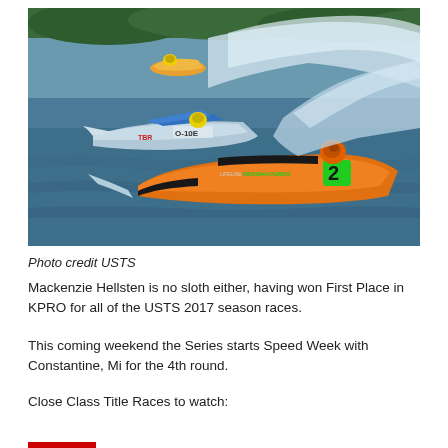[Figure (photo): Two racing speedboats on open water. The foreground boat is orange and black, number 2, with 'BREW HOUNDS' branding and an orange-helmeted driver. A silver/blue boat (O-10E) with a yellow-helmeted driver is to the left. A third boat is in the background. Large water spray is visible behind the boats, with green tree line in the background.]
Photo credit USTS
Mackenzie Hellsten is no sloth either, having won First Place in KPRO for all of the USTS 2017 season races.
This coming weekend the Series starts Speed Week with Constantine, Mi for the 4th round.
Close Class Title Races to watch: